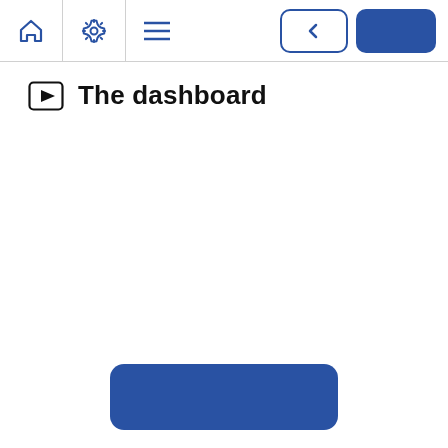Navigation bar with home, settings, menu icons and back/next buttons
The dashboard
[Figure (other): Blue rounded rectangle button at the bottom of the page]